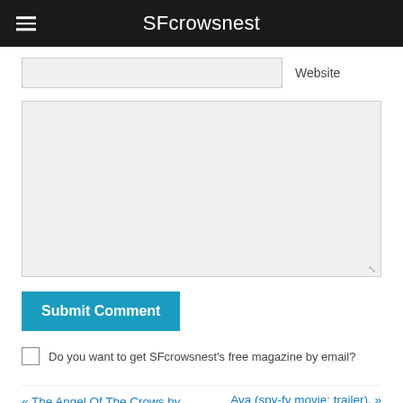SFcrowsnest
Website
Submit Comment
Do you want to get SFcrowsnest's free magazine by email?
« The Angel Of The Crows by Katherine Addison (book review).
Ava (spy-fy movie: trailer). »